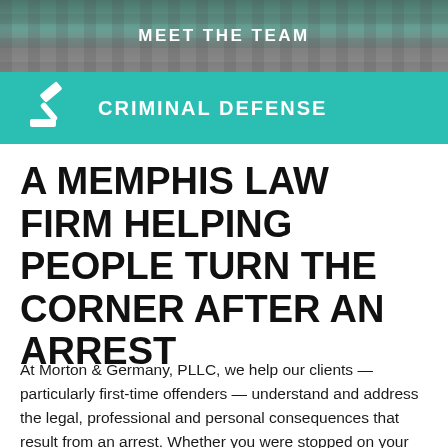MEET THE TEAM
CRIMINAL DEFENSE
A MEMPHIS LAW FIRM HELPING PEOPLE TURN THE CORNER AFTER AN ARREST
At Morton & Germany, PLLC, we help our clients — particularly first-time offenders — understand and address the legal, professional and personal consequences that result from an arrest. Whether you were stopped on your way home from the bar and charged with your first DUI, or your son or daughter faces drug possession charges and potential expulsion from college, our attorneys will step in